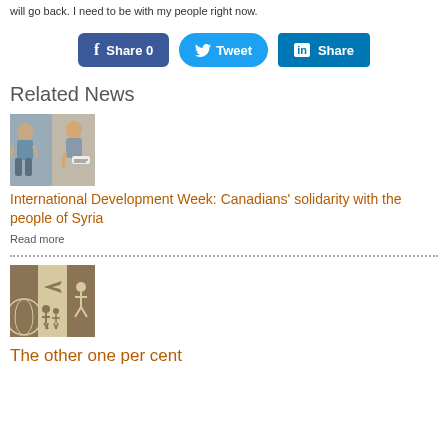will go back. I need to be with my people right now.
[Figure (infographic): Social sharing buttons: Facebook Share 0, Twitter Tweet, LinkedIn Share]
Related News
[Figure (photo): Two-panel photo showing people in emotional/supportive scenes]
International Development Week: Canadians' solidarity with the people of Syria
Read more
[Figure (illustration): Illustrated graphic with figures and a plane on beige/brown background, representing refugees or displacement]
The other one per cent